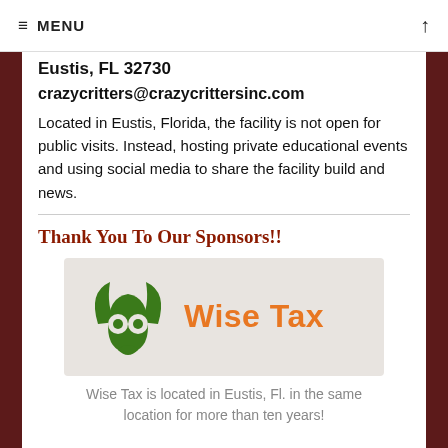≡ MENU
Eustis, FL 32730
crazycritters@crazycrittersinc.com
Located in Eustis, Florida, the facility is not open for public visits. Instead, hosting private educational events and using social media to share the facility build and news.
Thank You To Our Sponsors!!
[Figure (logo): Wise Tax logo — green owl-shaped icon with two circular eyes and leaf wings, with orange text 'Wise Tax' beside it, on a light beige background]
Wise Tax is located in Eustis, Fl. in the same location for more than ten years!